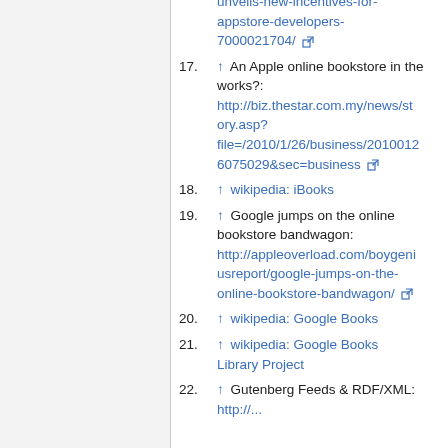(continued) unveils-new-incentives-for-appstore-developers-7000021704/
17. ↑ An Apple online bookstore in the works?: http://biz.thestar.com.my/news/story.asp?file=/2010/1/26/business/20100126075029&sec=business
18. ↑ wikipedia: iBooks
19. ↑ Google jumps on the online bookstore bandwagon: http://appleoverload.com/boygeniusreport/google-jumps-on-the-online-bookstore-bandwagon/
20. ↑ wikipedia: Google Books
21. ↑ wikipedia: Google Books Library Project
22. ↑ Gutenberg Feeds & RDF/XML: http://...